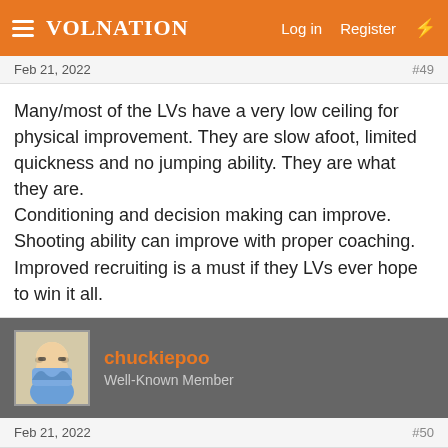VolNation — Log in  Register
Feb 21, 2022  #49
Many/most of the LVs have a very low ceiling for physical improvement. They are slow afoot, limited quickness and no jumping ability. They are what they are.
Conditioning and decision making can improve. Shooting ability can improve with proper coaching. Improved recruiting is a must if they LVs ever hope to win it all.
chuckiepoo
Well-Known Member
Feb 21, 2022  #50
Majors said: ▶
4 games out the six losses she had 0%
Now you've invoked @mudcat1973